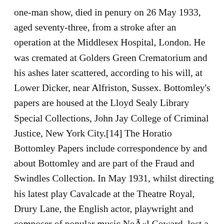one-man show, died in penury on 26 May 1933, aged seventy-three, from a stroke after an operation at the Middlesex Hospital, London. He was cremated at Golders Green Crematorium and his ashes later scattered, according to his will, at Lower Dicker, near Alfriston, Sussex. Bottomley's papers are housed at the Lloyd Sealy Library Special Collections, John Jay College of Criminal Justice, New York City.[14] The Horatio Bottomley Papers include correspondence by and about Bottomley and are part of the Fraud and Swindles Collection. In May 1931, whilst directing his latest play Cavalcade at the Theatre Royal, Drury Lane, the English actor, playwright and composer of popular music Noël Coward, lost a black leather wallet. In February 1981 during pre-production of The Best Little Whorehouse in Texas, American actor Henderson Forsythe found Noël Coward's missing wallet stuffed inside of a broken